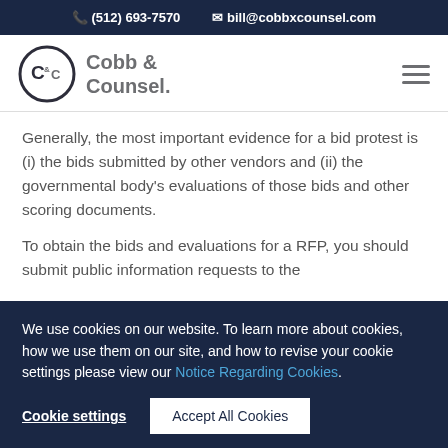(512) 693-7570   bill@cobbxcounsel.com
[Figure (logo): Cobb & Counsel logo with circular C&C icon and text 'Cobb & Counsel.']
Generally, the most important evidence for a bid protest is (i) the bids submitted by other vendors and (ii) the governmental body's evaluations of those bids and other scoring documents.
To obtain the bids and evaluations for a RFP, you should submit public information requests to the
We use cookies on our website. To learn more about cookies, how we use them on our site, and how to revise your cookie settings please view our Notice Regarding Cookies.
Cookie settings   Accept All Cookies